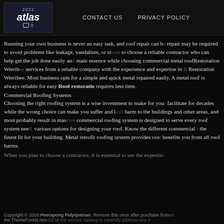Atlas 2022 | CONTACT US | PRIVACY POLICY
Running your own business is never an easy task, and roof repair can be required to avoid problems like leakage, vandalism, or storm damage. It is important to choose a reliable contractor who can help get the job done easily and efficiently. The main essence while choosing commercial metal roofRestoration Werribee is to avail services from a reliable company with the experience and expertise in Roof Restoration Werribee. Most business opts for a simple and quick metal roof that can be repaired easily. A metal roof is always reliable for easy Roof restoration and requires less time.
Commercial Roofing Systems
Choosing the right roofing system is a wise investment to make for your building that can facilitate for decades while the wrong choice can make you suffer and lead to harm to the buildings and other areas, and most probably result in massive repair costs. A commercial roofing system is designed to serve every roof system need, and it provides various options for designing your roof. Know the different commercial options to choose the finest fit for your building. Metal retrofit roofing system provides cost savings and benefits you from all roof harms.
When you plan to choose a contractor, it is essential to see the expertise
Copyright © 2010 Peerapong Pulpipatnan. Remove this once after purchase from the ThemeForest.net and all the service catalog to carefully address any d...